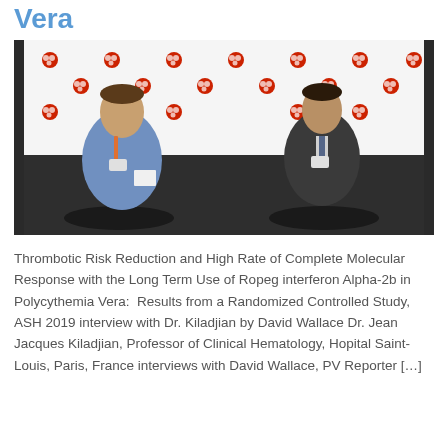Vera
[Figure (photo): Two men sitting in chairs in front of a medical conference step-and-repeat backdrop with red cell/blood logos. The man on the left wears a blue shirt with an orange lanyard badge. The man on the right wears a dark suit jacket with a conference badge.]
Thrombotic Risk Reduction and High Rate of Complete Molecular Response with the Long Term Use of Ropeg interferon Alpha-2b in Polycythemia Vera:  Results from a Randomized Controlled Study, ASH 2019 interview with Dr. Kiladjian by David Wallace Dr. Jean Jacques Kiladjian, Professor of Clinical Hematology, Hopital Saint-Louis, Paris, France interviews with David Wallace, PV Reporter [...]